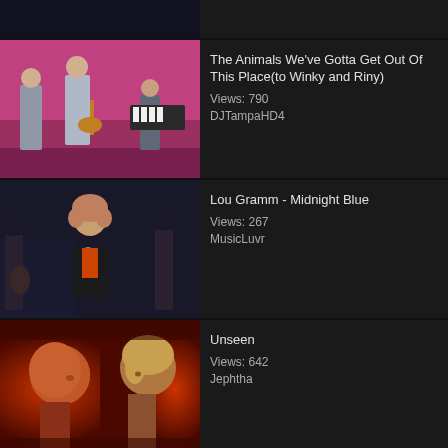[Figure (screenshot): Partial video thumbnail at top, dark scene]
[Figure (photo): The Animals We've Gotta Get Out Of This Place - performers on stage with pink background]
The Animals We've Gotta Get Out Of This Place(to Winky and Riny)
Views: 790
DJTampaHD4
[Figure (photo): Lou Gramm - Midnight Blue - man with curly hair singing into microphone with band]
Lou Gramm - Midnight Blue
Views: 267
MusicLuvr
[Figure (photo): Unseen - two bald/blonde figures lit in red light facing each other]
Unseen
Views: 642
Jephtha
[Figure (photo): VINO GRIEGO - colorful scene with blue building]
VINO GRIEGO
Views: 882